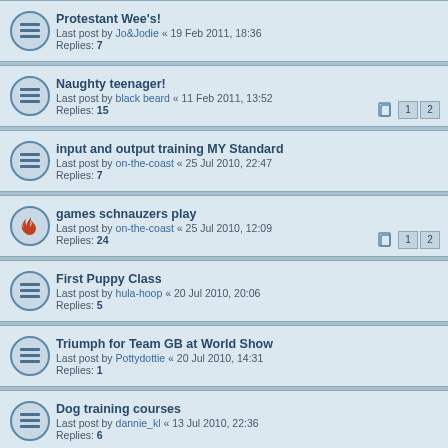Protestant Wee's! Last post by Jo&Jodie « 19 Feb 2011, 18:36 Replies: 7
Naughty teenager! Last post by black beard « 11 Feb 2011, 13:52 Replies: 15
input and output training MY Standard Last post by on-the-coast « 25 Jul 2010, 22:47 Replies: 7
games schnauzers play Last post by on-the-coast « 25 Jul 2010, 12:09 Replies: 24
First Puppy Class Last post by hula-hoop « 20 Jul 2010, 20:06 Replies: 5
Triumph for Team GB at World Show Last post by Pottydottie « 20 Jul 2010, 14:31 Replies: 1
Dog training courses Last post by dannie_kl « 13 Jul 2010, 22:36 Replies: 6
Puppy exercise Last post by Darwinsmum « 10 Jul 2010, 16:29 Replies: 15
Socialising, socialising and more socialising! Last post by Stacey100 « 04 Jul 2010, 14:15 Replies: 30